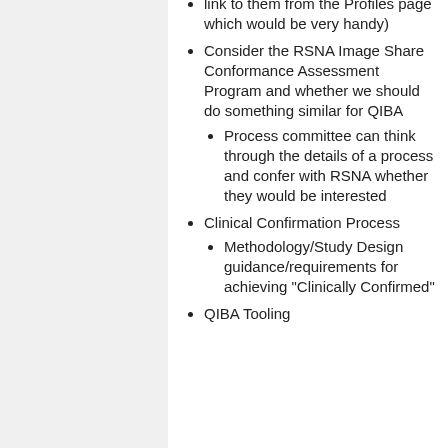link to them from the Profiles page which would be very handy)
Consider the RSNA Image Share Conformance Assessment Program and whether we should do something similar for QIBA
Process committee can think through the details of a process and confer with RSNA whether they would be interested
Clinical Confirmation Process
Methodology/Study Design guidance/requirements for achieving "Clinically Confirmed"
QIBA Tooling